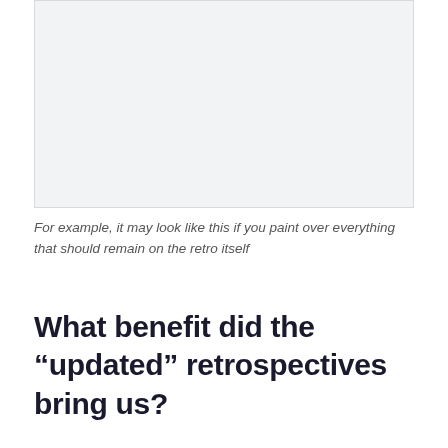[Figure (other): A light gray rectangular placeholder image area]
For example, it may look like this if you paint over everything that should remain on the retro itself
What benefit did the “updated” retrospectives bring us?